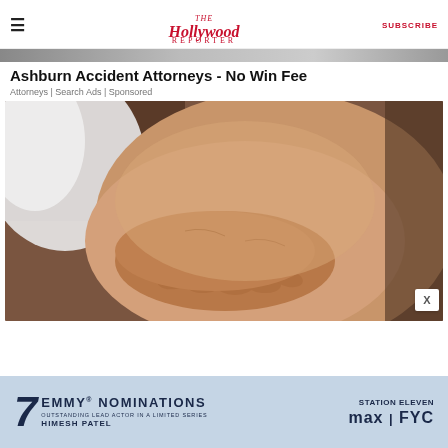The Hollywood Reporter | SUBSCRIBE
[Figure (photo): Partial top strip of a photo showing a person]
Ashburn Accident Attorneys - No Win Fee
Attorneys | Search Ads | Sponsored
[Figure (photo): Close-up photo of a person's hand pressing on their knee/thigh area, skin tones with white garment visible]
[Figure (infographic): 7 Emmy Nominations advertisement for Station Eleven on Max FYC. Outstanding Lead Actor in a Limited Series - Himesh Patel. STATION ELEVEN max | FYC]